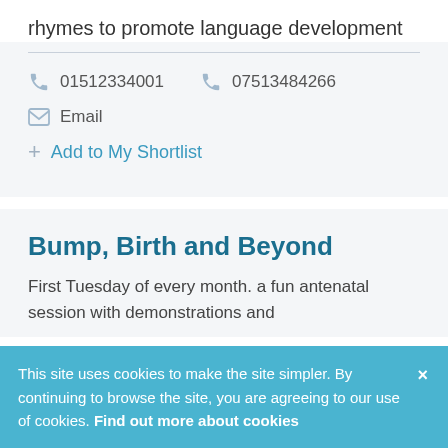rhymes to promote language development
01512334001   07513484266
Email
Add to My Shortlist
Bump, Birth and Beyond
First Tuesday of every month. a fun antenatal session with demonstrations and
This site uses cookies to make the site simpler. By continuing to browse the site, you are agreeing to our use of cookies. Find out more about cookies